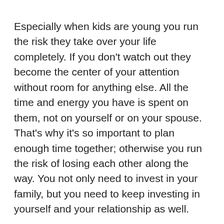Especially when kids are young you run the risk they take over your life completely. If you don't watch out they become the center of your attention without room for anything else. All the time and energy you have is spent on them, not on yourself or on your spouse. That's why it's so important to plan enough time together; otherwise you run the risk of losing each other along the way. You not only need to invest in your family, but you need to keep investing in yourself and your relationship as well.